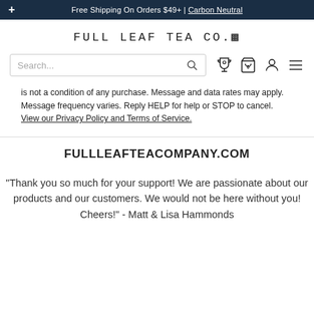+ Free Shipping On Orders $49+ | Carbon Neutral
FULL LEAF TEA CO.
[Figure (screenshot): Search bar with search icon, trophy icon, shopping bag icon with 0 badge, user/account icon, and hamburger menu icon]
is not a condition of any purchase. Message and data rates may apply. Message frequency varies. Reply HELP for help or STOP to cancel. View our Privacy Policy and Terms of Service.
FULLLEAFTEACOMPANY.COM
"Thank you so much for your support! We are passionate about our products and our customers. We would not be here without you! Cheers!" - Matt & Lisa Hammonds